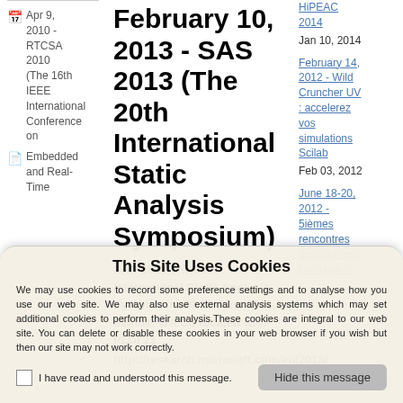Apr 9, 2010 - RTCSA 2010 (The 16th IEEE International Conference on Embedded and Real-Time
February 10, 2013 - SAS 2013 (The 20th International Static Analysis Symposium)
SAS 2013 The 20th International Static Analysis Symposium 20-22 June 2013, Seattle, WA Co-located with PLDI'13
http://research.microsoft.com/en/2013/
HiPEAC 2014
Jan 10, 2014
February 14, 2012 - Wild Cruncher UV : accelerez vos simulations Scilab
Feb 03, 2012
June 18-20, 2012 - 5ièmes rencontres des journées compilation
This Site Uses Cookies
We may use cookies to record some preference settings and to analyse how you use our web site. We may also use external analysis systems which may set additional cookies to perform their analysis.These cookies are integral to our web site. You can delete or disable these cookies in your web browser if you wish but then our site may not work correctly.
I have read and understood this message.
Hide this message